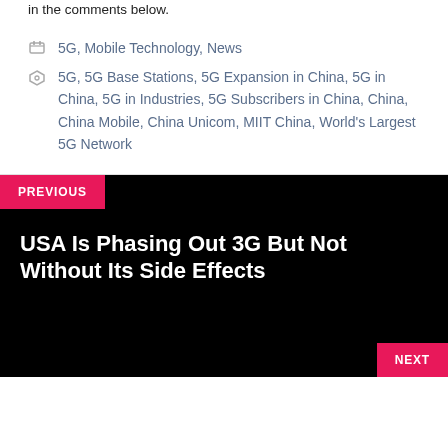in the comments below.
5G, Mobile Technology, News
5G, 5G Base Stations, 5G Expansion in China, 5G in China, 5G in Industries, 5G Subscribers in China, China, China Mobile, China Unicom, MIIT China, World's Largest 5G Network
PREVIOUS
USA Is Phasing Out 3G But Not Without Its Side Effects
NEXT